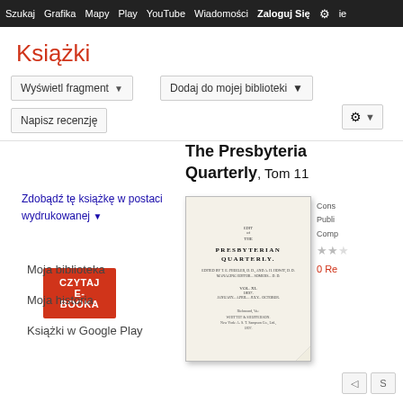Szukaj Grafika Mapy Play YouTube Wiadomości Zaloguj Się
Książki
Wyświetl fragment
Dodaj do mojej biblioteki
Napisz recenzję
CZYTAJ E-BOOKA
The Presbyterian Quarterly, Tom 11
Zdobądź tę książkę w postaci wydrukowanej
[Figure (photo): Book cover of The Presbyterian Quarterly]
Cons
Publi
Comp
0 Rec
Moja biblioteka
Moja historia
Książki w Google Play